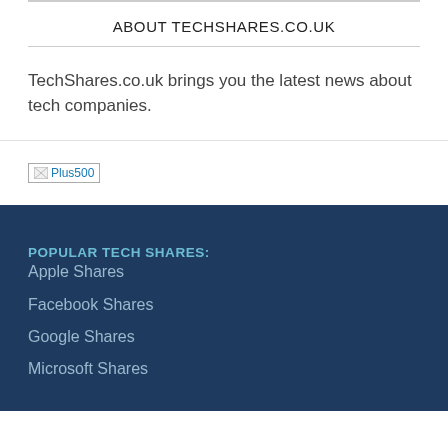ABOUT TECHSHARES.CO.UK
TechShares.co.uk brings you the latest news about tech companies.
[Figure (logo): Broken image placeholder showing 'Plus500' text in blue]
POPULAR TECH SHARES:
Apple Shares
Facebook Shares
Google Shares
Microsoft Shares